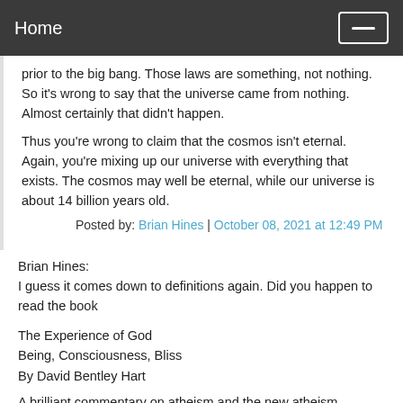Home
prior to the big bang. Those laws are something, not nothing. So it's wrong to say that the universe came from nothing. Almost certainly that didn't happen.
Thus you're wrong to claim that the cosmos isn't eternal. Again, you're mixing up our universe with everything that exists. The cosmos may well be eternal, while our universe is about 14 billion years old.
Posted by: Brian Hines | October 08, 2021 at 12:49 PM
Brian Hines:
I guess it comes down to definitions again. Did you happen to read the book

The Experience of God
Being, Consciousness, Bliss
By David Bentley Hart

A brilliant commentary on atheism and the new atheism